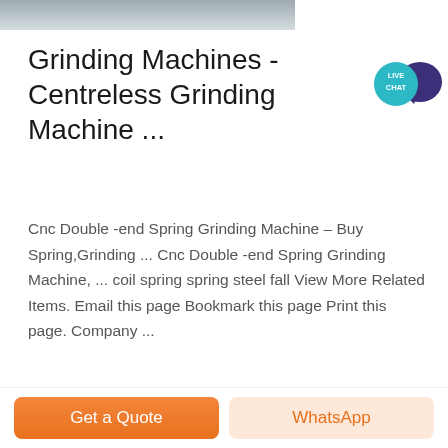[Figure (photo): Partial top image of grinding machinery or material, cropped at top of page]
Grinding Machines – Centreless Grinding Machine ...
Cnc Double -end Spring Grinding Machine – Buy Spring,Grinding ... Cnc Double -end Spring Grinding Machine, ... coil spring spring steel fall View More Related Items. Email this page Bookmark this page Print this page. Company ...
[Figure (photo): Industrial grinding machine with large white cylindrical housing and red band, inside a factory building with metal frame structure]
Get a Quote
WhatsApp